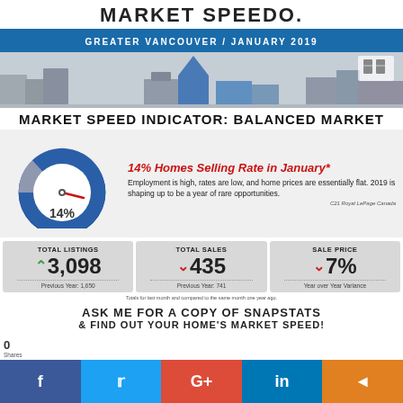MARKET SPEEDO.
GREATER VANCOUVER / JANUARY 2019
[Figure (infographic): 3D buildings silhouette hero image with grey and blue tones, decorative background for real estate report]
MARKET SPEED INDICATOR: BALANCED MARKET
[Figure (donut-chart): Gauge/speedometer dial showing 14% with a red needle, pie chart segments in blue and grey indicating balanced market]
14% Homes Selling Rate in January*
Employment is high, rates are low, and home prices are essentially flat. 2019 is shaping up to be a year of rare opportunities.
C21 Royal LePage Canada
TOTAL LISTINGS
↑ 3,098
Previous Year: 1,650
TOTAL SALES
↓ 435
Previous Year: 741
SALE PRICE
↓ 7%
Year over Year Variance
Totals for last month and compared to the same month one year ago.
ASK ME FOR A COPY OF SNAPSTATS
& FIND OUT YOUR HOME'S MARKET SPEED!
0 Shares — Facebook, Twitter, Google+, LinkedIn, Share